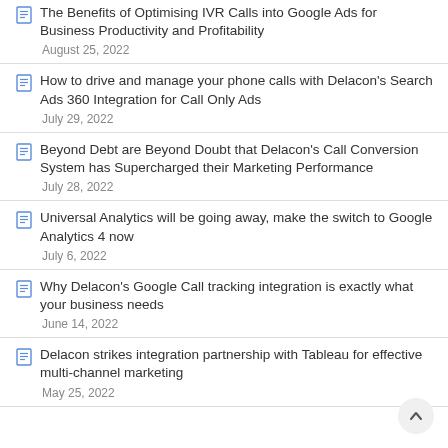The Benefits of Optimising IVR Calls into Google Ads for Business Productivity and Profitability
August 25, 2022
How to drive and manage your phone calls with Delacon’s Search Ads 360 Integration for Call Only Ads
July 29, 2022
Beyond Debt are Beyond Doubt that Delacon’s Call Conversion System has Supercharged their Marketing Performance
July 28, 2022
Universal Analytics will be going away, make the switch to Google Analytics 4 now
July 6, 2022
Why Delacon’s Google Call tracking integration is exactly what your business needs
June 14, 2022
Delacon strikes integration partnership with Tableau for effective multi-channel marketing
May 25, 2022